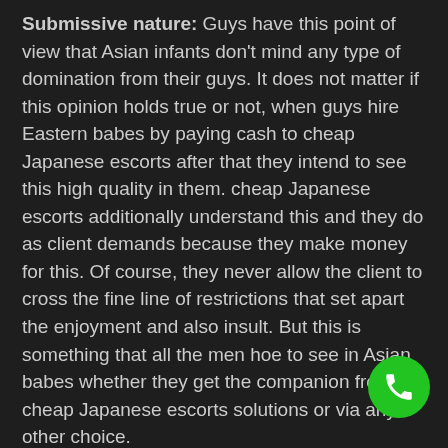Submissive nature: Guys have this point of view that Asian infants don't mind any type of domination from their guys. It does not matter if this opinion holds true or not, when guys hire Eastern babes by paying cash to cheap Japanese escorts after that they intend to see this high quality in them. cheap Japanese escorts additionally understand this and they do as client demands because they make money for this. Of course, they never allow the client to cross the fine line of restrictions that set apart the enjoyment and also insult. But this is something that all the men hoe to see in Asian babes whether they get the companion from cheap Japanese escorts solutions or via any other choice.
Small number: A tiny number is very crucial element of Oriental infants as well as guys intend to see this high quality in cheap Japanese escorts too. A petite figure seems even more femininity to guys and also